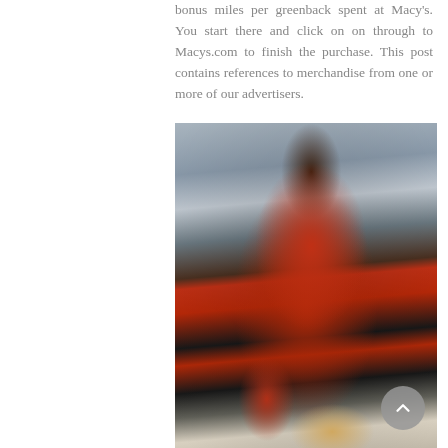bonus miles per greenback spent at Macy's. You start there and click on on through to Macys.com to finish the purchase. This post contains references to merchandise from one or more of our advertisers.
[Figure (photo): A woman wearing a red coat holding shopping bags, standing in front of a building with dark awnings. She has one hand raised to her hair and is looking to the side.]